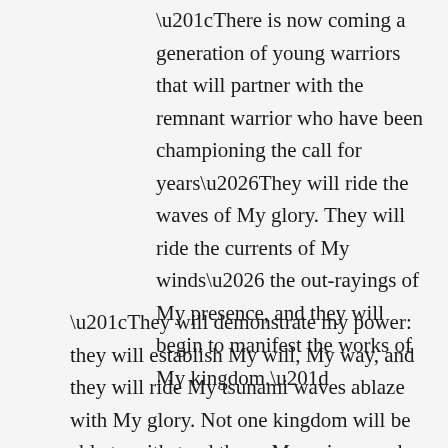“There is now coming a generation of young warriors that will partner with the remnant warrior who have been championing the call for years…They will ride the waves of My glory. They will ride the currents of My winds… the out-rayings of My presence, and they will begin to manifest the works of My kingdom.”
“They will demonstrate my power: they will establish My will, My way, and they will ride My tsunami waves ablaze with My glory. Not one kingdom will be able to withstand them. My unique eagle force will startle the world with the intensity in